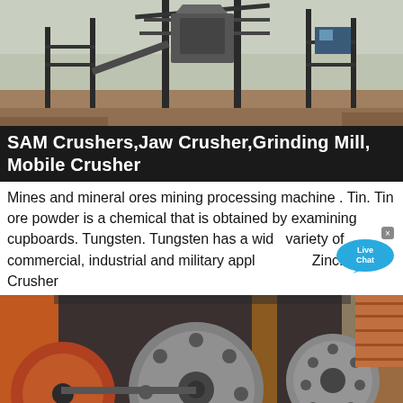[Figure (photo): Industrial mining crusher plant with large metal structures, conveyor belts and gantry framework against a hazy sky.]
SAM Crushers,Jaw Crusher,Grinding Mill, Mobile Crusher
Mines and mineral ores mining processing machine . Tin. Tin ore powder is a chemical that is obtained by examining cupboards. Tungsten. Tungsten has a wide variety of commercial, industrial and military applications. Zinc. Stone Crusher
[Figure (photo): Close-up of a large jaw crusher machine with heavy metal flywheels/pulleys, rusted orange and grey metal parts, mounted on a frame structure.]